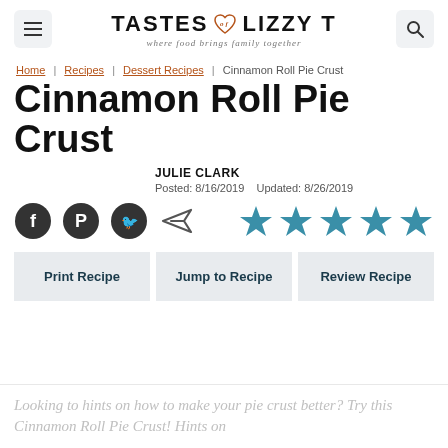TASTES of LIZZY T — where food brings family together
Home | Recipes | Dessert Recipes | Cinnamon Roll Pie Crust
Cinnamon Roll Pie Crust
JULIE CLARK
Posted: 8/16/2019   Updated: 8/26/2019
[Figure (infographic): Social sharing icons: Facebook, Pinterest, Twitter, email/send. Five teal star rating icons.]
Print Recipe   Jump to Recipe   Review Recipe
Looking to hints on how to make your pie crust better? Try this Cinnamon Roll Pie Crust! Hints on